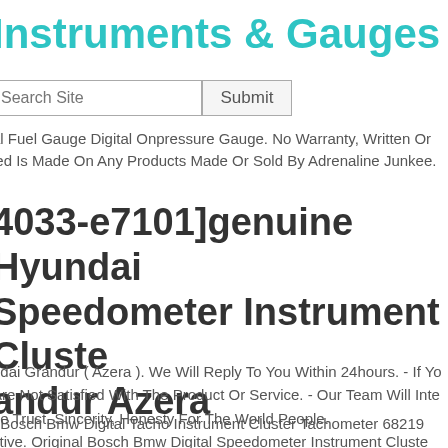Instruments & Gauges
Search Site  Submit
al Fuel Gauge Digital Onpressure Gauge. No Warranty, Written Or
ied Is Made On Any Products Made Or Sold By Adrenaline Junkee.
4033-e7101]genuine Hyundai Speedometer Instrument Cluster Panel andur Azera
ndai Grandur ( Azera ). We Will Reply To You Within 24hours. - If Yo Are Not Satisfied With The Product Or Service. - Our Team Will Inte he Trust, Sincerity, Honesty For The World People.
. Bosch Bmw Digital Tacho Instrument Cluster Tachometer 68219 ctive. Original Bosch Bmw Digital Speedometer Instrument Cluste edometer 6821932 Defective Original Bosch Bmw Digital Instrume